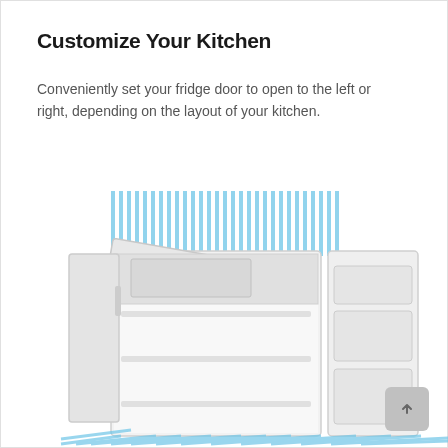Customize Your Kitchen
Conveniently set your fridge door to open to the left or right, depending on the layout of your kitchen.
[Figure (illustration): Open mini refrigerator with door swung open to the left showing interior shelves and door bins, placed on a blue striped floor with blue diagonal lines radiating from the top of the fridge indicating door swing range.]